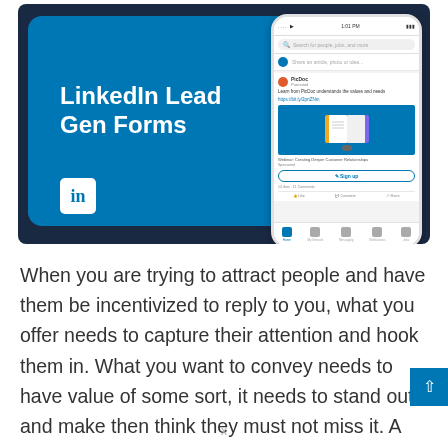[Figure (screenshot): LinkedIn Lead Gen Forms promotional banner showing a dark navy background with a blue card containing the text 'LinkedIn Lead Gen Forms' and the LinkedIn logo, alongside a smartphone mockup showing the LinkedIn mobile app with a sponsored post and Sign up button.]
When you are trying to attract people and have them be incentivized to reply to you, what you offer needs to capture their attention and hook them in. What you want to convey needs to have value of some sort, it needs to stand out and make then think they must not miss it. A good wat to do this